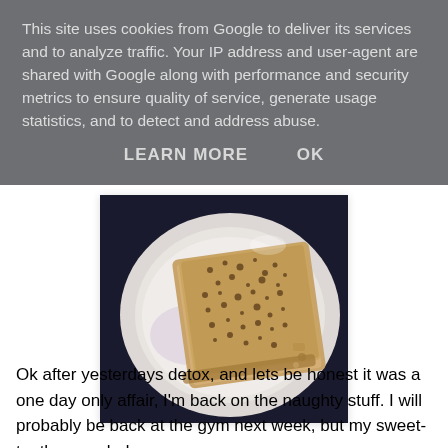This site uses cookies from Google to deliver its services and to analyze traffic. Your IP address and user-agent are shared with Google along with performance and security metrics to ensure quality of service, generate usage statistics, and to detect and address abuse.
LEARN MORE    OK
[Figure (photo): A piece of toast or French toast with brown speckled topping on a white plate, photographed from above in dim lighting.]
Ok after yesterdays detox, and lets be honest it was a one day only affair, I'm back on the naughty stuff. I will probably be back at the gym next week, but my sweet-tooth overruled